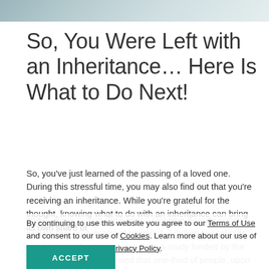[Figure (photo): Partial photo strip at top of page showing people, cropped]
So, You Were Left with an Inheritance… Here Is What to Do Next!
So, you've just learned of the passing of a loved one. During this stressful time, you may also find out that you're receiving an inheritance. While you're grateful for the thought, knowing what to do with an inheritance can bring its own share of
By continuing to use this website you agree to our Terms of Use and consent to our use of Cookies. Learn more about our use of cookies by viewing our Privacy Policy.
ACCEPT